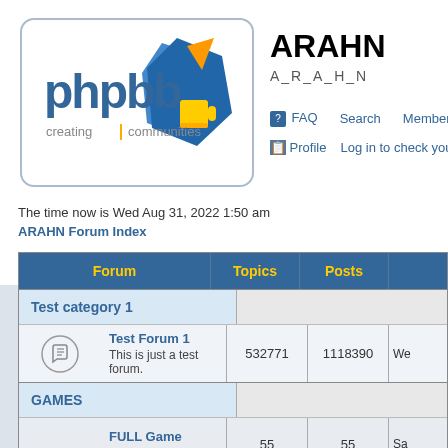[Figure (logo): phpBB logo with 'creating communities' text and geometric shapes in blue, orange and yellow]
ARAHN
A_R_A_H_N
FAQ  Search  Memberlist  Us...
Profile  Log in to check your private m...
The time now is Wed Aug 31, 2022 1:50 am
ARAHN Forum Index
| Forum | Topics | Posts |  |
| --- | --- | --- | --- |
| Test category 1 |  |  |  |
| Test Forum 1
This is just a test forum. | 532771 | 1118390 | We... |
| GAMES |  |  |  |
| FULL Game
PC/PSP/RIP/ISO | 55 | 55 | Sa... |
| Rosiiski
letitbit:vip-file:4files:Rapidshare | 58 | 58 | Th... |
| GSM
ÃŒÃ®Ã¡Ã¨Ã¯ÄÃ»Ã© | 31 | 41 | Mo... |